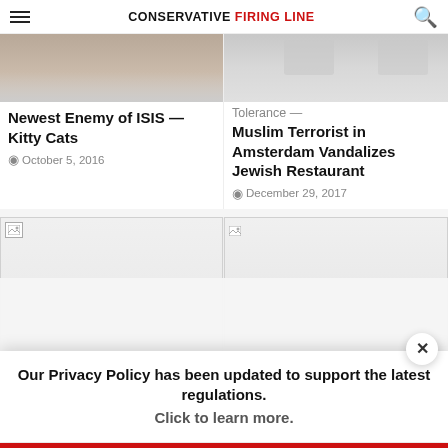CONSERVATIVE FIRING LINE
[Figure (photo): Partial photo visible at top left, person silhouette]
Newest Enemy of ISIS — Kitty Cats
October 5, 2016
[Figure (photo): Partial photo visible at top right, blurred figures]
Tolerance — Muslim Terrorist in Amsterdam Vandalizes Jewish Restaurant
December 29, 2017
[Figure (photo): Broken image placeholder, bottom left card]
[Figure (photo): Broken image placeholder, bottom right card]
Why don't we just ask the NSA where the plane is
Our Privacy Policy has been updated to support the latest regulations. Click to learn more.